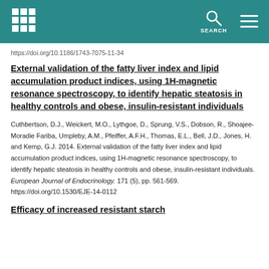SEARCH
https://doi.org/10.1186/1743-7075-11-34
External validation of the fatty liver index and lipid accumulation product indices, using 1H-magnetic resonance spectroscopy, to identify hepatic steatosis in healthy controls and obese, insulin-resistant individuals
Cuthbertson, D.J., Weickert, M.O., Lythgoe, D., Sprung, V.S., Dobson, R., Shoajee-Moradie Fariba, Umpleby, A.M., Pfeiffer, A.F.H., Thomas, E.L., Bell, J.D., Jones, H. and Kemp, G.J. 2014. External validation of the fatty liver index and lipid accumulation product indices, using 1H-magnetic resonance spectroscopy, to identify hepatic steatosis in healthy controls and obese, insulin-resistant individuals. European Journal of Endocrinology. 171 (5), pp. 561-569. https://doi.org/10.1530/EJE-14-0112
Efficacy of increased resistant starch